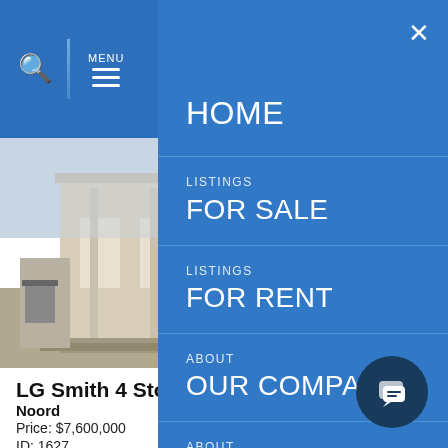[Figure (screenshot): Mobile real estate website screenshot showing a navigation menu overlay on the right and a property listing on the left with a photo of a building, location Noord, price $7,600,000, ID 1627]
HOME
LISTINGS
FOR SALE
LISTINGS
FOR RENT
ABOUT
OUR COMPANY
ABOUT
BUYING
LG Smith 4 Sto
Noord
Price: $7,600,000
ID: 1627
View Listing Detail
Investment building! surrounded by other c